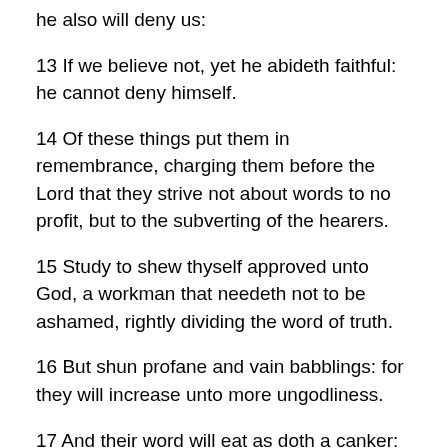he also will deny us:
13 If we believe not, yet he abideth faithful: he cannot deny himself.
14 Of these things put them in remembrance, charging them before the Lord that they strive not about words to no profit, but to the subverting of the hearers.
15 Study to shew thyself approved unto God, a workman that needeth not to be ashamed, rightly dividing the word of truth.
16 But shun profane and vain babblings: for they will increase unto more ungodliness.
17 And their word will eat as doth a canker: of whom is Hymenaeus and Philetus;